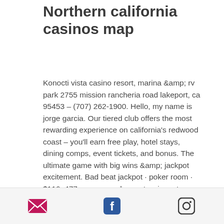Northern california casinos map
Konocti vista casino resort, marina &amp; rv park 2755 mission rancheria road lakeport, ca 95453 – (707) 262-1900. Hello, my name is jorge garcia. Our tiered club offers the most rewarding experience on california's redwood coast – you'll earn free play, hotel stays, dining comps, event tickets, and bonus. The ultimate game with big wins &amp; jackpot excitement. Bad beat jackpot · poker room · $116, 477 was won · chance to win up to $6,888 · new slots! · cascades casino · health &amp; safety. Here is our round-up of slots casinos in southern california: casinos in southern california: list of indian casinos california slots casinos: play online. Tulalip resort casino – official
[email icon] [facebook icon] [instagram icon]